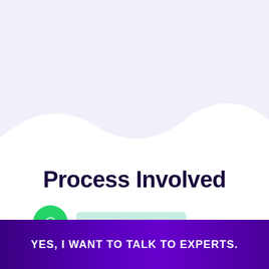[Figure (illustration): Light purple/lavender background with a white wave curve at the bottom, transitioning to white background below]
Process Involved
[Figure (illustration): Green circular WhatsApp icon button with white speech bubble phone icon]
Questions? Let's Chat
YES, I WANT TO TALK TO EXPERTS.